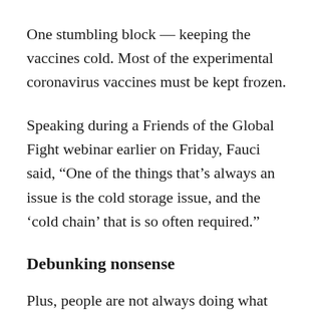One stumbling block — keeping the vaccines cold. Most of the experimental coronavirus vaccines must be kept frozen.
Speaking during a Friends of the Global Fight webinar earlier on Friday, Fauci said, “One of the things that’s always an issue is the cold storage issue, and the ‘cold chain’ that is so often required.”
Debunking nonsense
Plus, people are not always doing what they